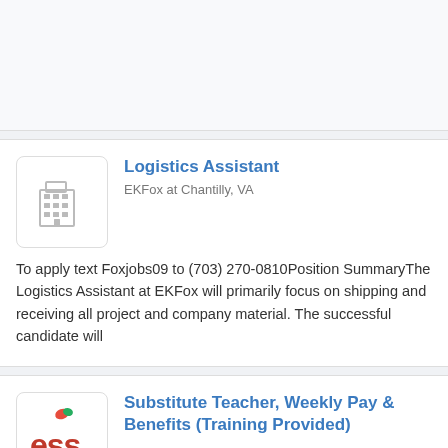[Figure (other): Top card placeholder area, light gray background, no content visible]
Logistics Assistant
EKFox at Chantilly, VA
To apply text Foxjobs09 to (703) 270-0810Position SummaryThe Logistics Assistant at EKFox will primarily focus on shipping and receiving all project and company material. The successful candidate will
[Figure (logo): ESS Education logo — red stylized 'ess' text with apple graphic above, tagline 'Every day counts.']
Substitute Teacher, Weekly Pay & Benefits (Training Provided)
ESS Education at Ashburn, VA
Substitute Teacher (Daily Long Term